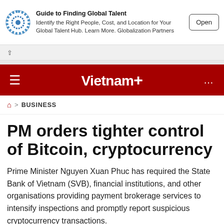[Figure (screenshot): Advertisement banner: Globalization Partners logo (blue circle), text 'Guide to Finding Global Talent - Identify the Right People, Cost, and Location for Your Global Talent Hub. Learn More. Globalization Partners', and an 'Open' button]
Vietnam+
BUSINESS
PM orders tighter control of Bitcoin, cryptocurrency
Prime Minister Nguyen Xuan Phuc has required the State Bank of Vietnam (SVB), financial institutions, and other organisations providing payment brokerage services to intensify inspections and promptly report suspicious cryptocurrency transactions.